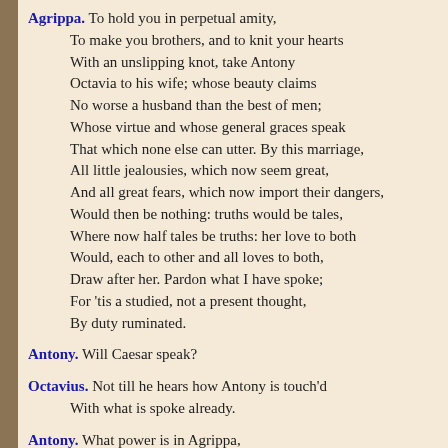Agrippa. To hold you in perpetual amity, To make you brothers, and to knit your hearts With an unslipping knot, take Antony Octavia to his wife; whose beauty claims No worse a husband than the best of men; Whose virtue and whose general graces speak That which none else can utter. By this marriage, All little jealousies, which now seem great, And all great fears, which now import their dangers, Would then be nothing: truths would be tales, Where now half tales be truths: her love to both Would, each to other and all loves to both, Draw after her. Pardon what I have spoke; For 'tis a studied, not a present thought, By duty ruminated.
Antony. Will Caesar speak?
Octavius. Not till he hears how Antony is touch'd With what is spoke already.
Antony. What power is in Agrippa, If I would say, 'Agrippa, be it so,' To make this good?
Octavius. The power of Caesar, and His power unto Octavia.